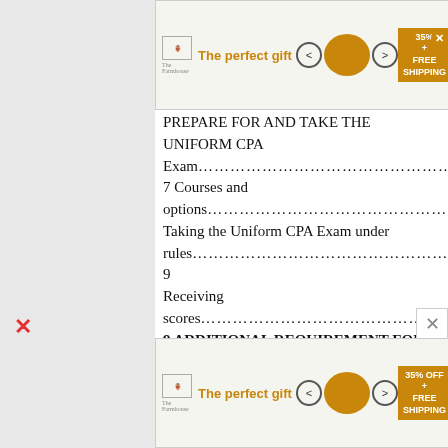[Figure (other): Advertisement banner at top: 'The perfect gift' with bowl image, navigation arrows, 35% FREE SHIPPING badge]
PREPARE FOR AND TAKE THE UNIFORM CPA Exam…………………………………………………7 Courses and options………………………………………………………
Taking the Uniform CPA Exam under rules……………………………………………………9
Receiving scores………………………………………………………………………………
9 ADDITIONAL REQUIREMENT FOR TEXAS CPA…………………………………………………………10 Submit a licensure application………………………………………………………………
10 Ethics exam………………………………………………………………
Work experience in Texas…………………………………………………………………………………
BENEFITS TO BECOME A TEXAS
[Figure (other): Advertisement banner at bottom: 'The perfect gift' with bowl image, navigation arrows, 35% OFF FREE SHIPPING badge]